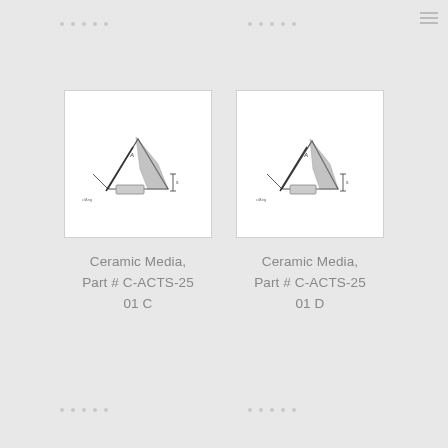[Figure (engineering-diagram): Technical sketch of a triangular ceramic media piece with dimensional annotations, Part # C-ACTS-2501 C]
Ceramic Media, Part # C-ACTS-2501 C
[Figure (engineering-diagram): Technical sketch of a triangular ceramic media piece with dimensional annotations, Part # C-ACTS-2501 D]
Ceramic Media, Part # C-ACTS-2501 D